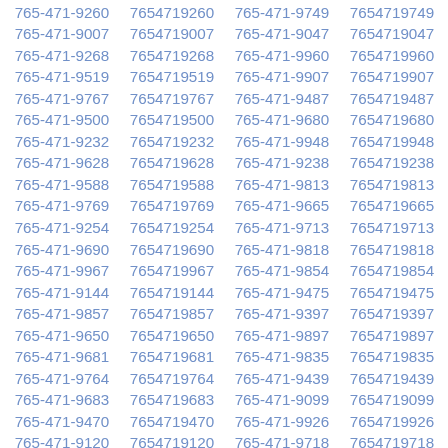| 765-471-9260 | 7654719260 | 765-471-9749 | 7654719749 |
| 765-471-9007 | 7654719007 | 765-471-9047 | 7654719047 |
| 765-471-9268 | 7654719268 | 765-471-9960 | 7654719960 |
| 765-471-9519 | 7654719519 | 765-471-9907 | 7654719907 |
| 765-471-9767 | 7654719767 | 765-471-9487 | 7654719487 |
| 765-471-9500 | 7654719500 | 765-471-9680 | 7654719680 |
| 765-471-9232 | 7654719232 | 765-471-9948 | 7654719948 |
| 765-471-9628 | 7654719628 | 765-471-9238 | 7654719238 |
| 765-471-9588 | 7654719588 | 765-471-9813 | 7654719813 |
| 765-471-9769 | 7654719769 | 765-471-9665 | 7654719665 |
| 765-471-9254 | 7654719254 | 765-471-9713 | 7654719713 |
| 765-471-9690 | 7654719690 | 765-471-9818 | 7654719818 |
| 765-471-9967 | 7654719967 | 765-471-9854 | 7654719854 |
| 765-471-9144 | 7654719144 | 765-471-9475 | 7654719475 |
| 765-471-9857 | 7654719857 | 765-471-9397 | 7654719397 |
| 765-471-9650 | 7654719650 | 765-471-9897 | 7654719897 |
| 765-471-9681 | 7654719681 | 765-471-9835 | 7654719835 |
| 765-471-9764 | 7654719764 | 765-471-9439 | 7654719439 |
| 765-471-9683 | 7654719683 | 765-471-9099 | 7654719099 |
| 765-471-9470 | 7654719470 | 765-471-9926 | 7654719926 |
| 765-471-9120 | 7654719120 | 765-471-9718 | 7654719718 |
| 765-471-9632 | 7654719632 | 765-471-9964 | 7654719964 |
| 765-471-9067 | 7654719067 | 765-471-9124 | 7654719124 |
| 765-471-9421 | 7654719421 | 765-471-9219 | 7654719219 |
| 765-471-9240 | 7654719240 | 765-471-9623 | 7654719623 |